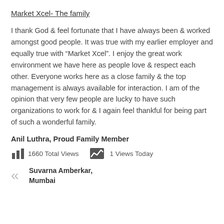Market Xcel- The family
I thank God & feel fortunate that I have always been & worked amongst good people. It was true with my earlier employer and equally true with “Market Xcel”. I enjoy the great work environment we have here as people love & respect each other. Everyone works here as a close family & the top management is always available for interaction. I am of the opinion that very few people are lucky to have such organizations to work for & I again feel thankful for being part of such a wonderful family.
Anil Luthra, Proud Family Member
1660 Total Views   1 Views Today
Suvarna Amberkar, Mumbai